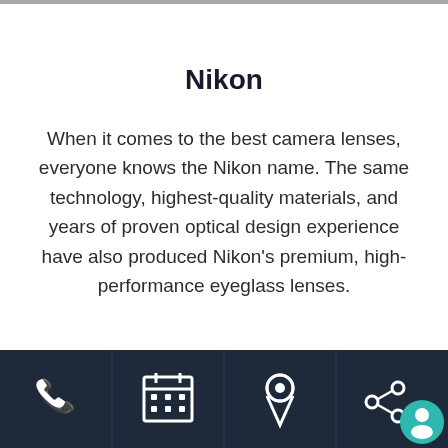Nikon
When it comes to the best camera lenses, everyone knows the Nikon name. The same technology, highest-quality materials, and years of proven optical design experience have also produced Nikon's premium, high-performance eyeglass lenses.
[Figure (infographic): Dark navy footer bar with four icon sections: phone icon, calendar/schedule icon, location pin icon, and share icon with teal chat bubble overlay.]